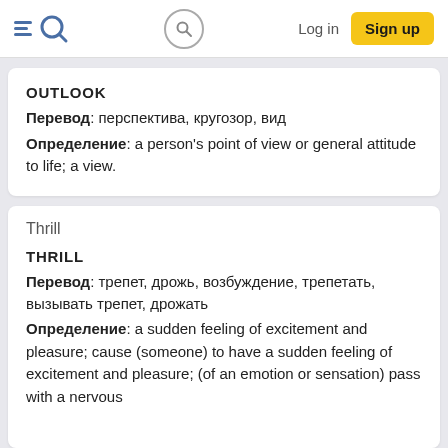EQ  [search]  Log in  Sign up
OUTLOOK
Перевод: перспектива, кругозор, вид
Определение: a person's point of view or general attitude to life; a view.
Thrill
THRILL
Перевод: трепет, дрожь, возбуждение, трепетать, вызывать трепет, дрожать
Определение: a sudden feeling of excitement and pleasure; cause (someone) to have a sudden feeling of excitement and pleasure; (of an emotion or sensation) pass with a nervous